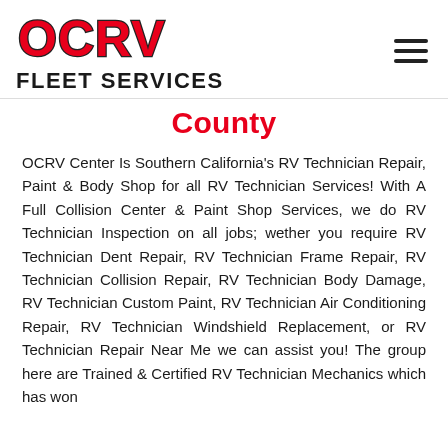[Figure (logo): OCRV Fleet Services logo with red stylized letters OCRV and bold black text FLEET SERVICES below]
County
OCRV Center Is Southern California's RV Technician Repair, Paint & Body Shop for all RV Technician Services! With A Full Collision Center & Paint Shop Services, we do RV Technician Inspection on all jobs; wether you require RV Technician Dent Repair, RV Technician Frame Repair, RV Technician Collision Repair, RV Technician Body Damage, RV Technician Custom Paint, RV Technician Air Conditioning Repair, RV Technician Windshield Replacement, or RV Technician Repair Near Me we can assist you! The group here are Trained & Certified RV Technician Mechanics which has won